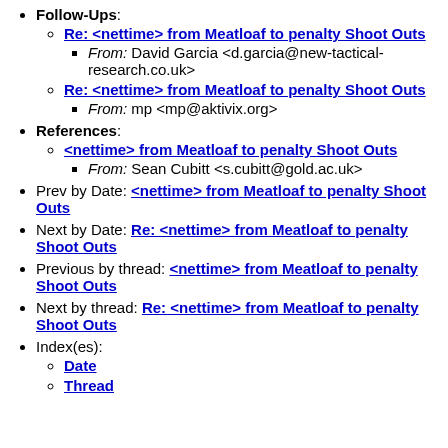Follow-Ups:
Re: <nettime> from Meatloaf to penalty Shoot Outs
From: David Garcia <d.garcia@new-tactical-research.co.uk>
Re: <nettime> from Meatloaf to penalty Shoot Outs
From: mp <mp@aktivix.org>
References:
<nettime> from Meatloaf to penalty Shoot Outs
From: Sean Cubitt <s.cubitt@gold.ac.uk>
Prev by Date: <nettime> from Meatloaf to penalty Shoot Outs
Next by Date: Re: <nettime> from Meatloaf to penalty Shoot Outs
Previous by thread: <nettime> from Meatloaf to penalty Shoot Outs
Next by thread: Re: <nettime> from Meatloaf to penalty Shoot Outs
Index(es):
Date
Thread